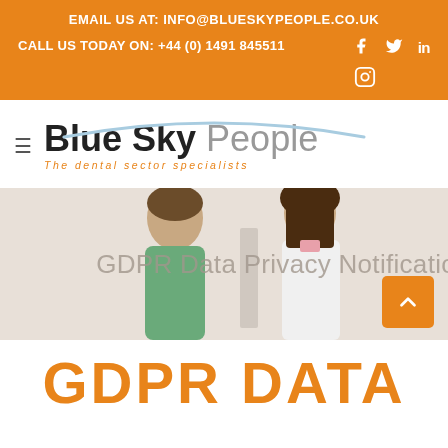EMAIL US AT: INFO@BLUESKYPEOPLE.co.uk
CALL US TODAY ON: +44 (0) 1491 845511
[Figure (logo): Blue Sky People logo with tagline 'The dental sector specialists' and a light blue arc above the text]
[Figure (photo): Two dental professionals (a man in green scrubs and a woman in a white coat) with overlaid text 'GDPR Data Privacy Notification' and an orange scroll-to-top button]
GDPR DATA